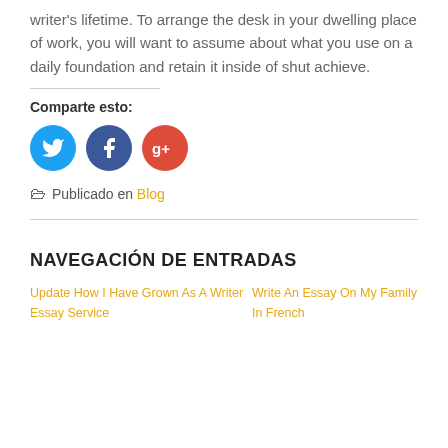writer's lifetime. To arrange the desk in your dwelling place of work, you will want to assume about what you use on a daily foundation and retain it inside of shut achieve.
Comparte esto:
[Figure (infographic): Three social media share buttons: Twitter (blue circle with bird icon), Facebook (dark blue circle with f icon), Google+ (red circle with g+ icon)]
Publicado en Blog
NAVEGACIÓN DE ENTRADAS
Update How I Have Grown As A Writer Essay Service
Write An Essay On My Family In French